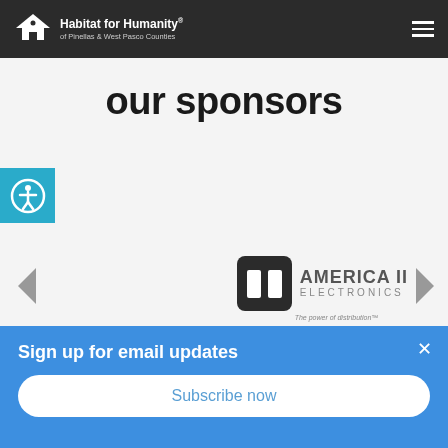Habitat for Humanity of Pinellas & West Pasco Counties
our sponsors
[Figure (logo): Accessibility icon — person in circle, teal background]
[Figure (logo): America II Electronics logo with tagline 'The power of distribution']
Sign up for email updates
Subscribe now